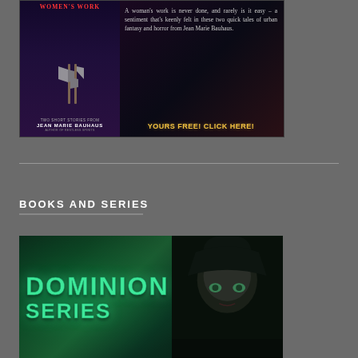[Figure (illustration): Promotional banner for 'Women's Work' two short stories by Jean Marie Bauhaus. Left side shows book cover with axes on dark background. Right side has description text: 'A woman's work is never done, and rarely is it easy – a sentiment that's keenly felt in these two quick tales of urban fantasy and horror from Jean Marie Bauhaus.' and call to action 'Yours Free! Click Here!']
BOOKS AND SERIES
[Figure (illustration): Promotional banner for the Dominion Series. Shows large teal/green glowing text 'DOMINION SERIES' on dark green background on the left. On the right is a woman's face with dark hair and green eyes against a dark background.]